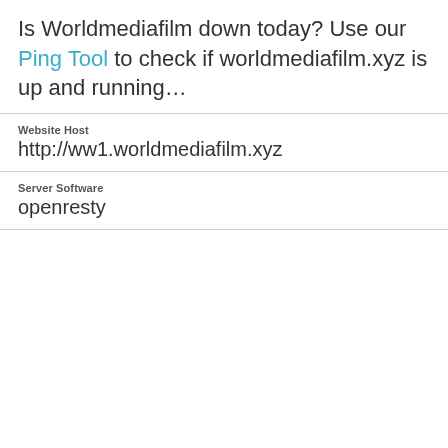Is Worldmediafilm down today? Use our Ping Tool to check if worldmediafilm.xyz is up and running…
| Field | Value |
| --- | --- |
| Website Host | http://ww1.worldmediafilm.xyz |
| Server Software | openresty |